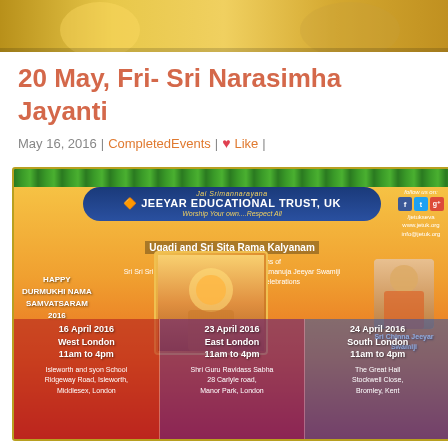[Figure (illustration): Top decorative image with golden/yellow tones showing a deity figure]
20 May, Fri- Sri Narasimha Jayanti
May 16, 2016 | CompletedEvents | Like |
[Figure (infographic): Jeeyar Educational Trust UK flyer for Ugadi and Sri Sita Rama Kalyanam event. Shows events on 16 April 2016 at West London (Isleworth and Syon School, Ridgeway Road, Isleworth, Middlesex, London), 23 April 2016 at East London (Shri Guru Ravidass Sabha, 28 Carlyle Road, Manor Park, London), and 24 April 2016 at South London (The Great Hall, Stockwell Close, Bromley, Kent). All events 11am to 4pm. Happy Durmukhi Nama Samvatsaram 2016. Sri Chinna Jeeyar Swamiji featured.]